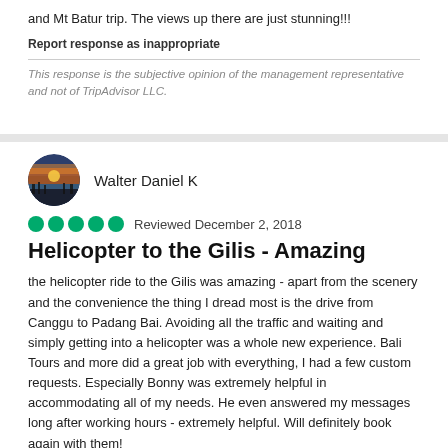and Mt Batur trip. The views up there are just stunning!!!
Report response as inappropriate
This response is the subjective opinion of the management representative and not of TripAdvisor LLC.
Walter Daniel K
Reviewed December 2, 2018
Helicopter to the Gilis - Amazing
the helicopter ride to the Gilis was amazing - apart from the scenery and the convenience the thing I dread most is the drive from Canggu to Padang Bai. Avoiding all the traffic and waiting and simply getting into a helicopter was a whole new experience. Bali Tours and more did a great job with everything, I had a few custom requests. Especially Bonny was extremely helpful in accommodating all of my needs. He even answered my messages long after working hours - extremely helpful. Will definitely book again with them!
Date of experience: November 2018